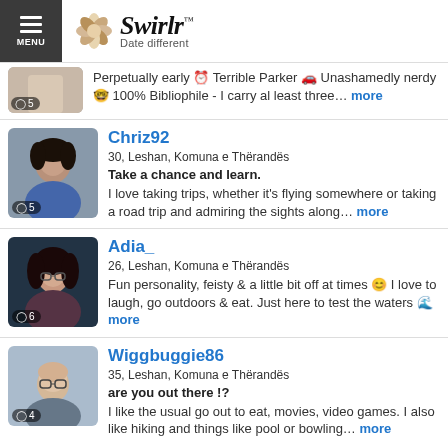Swirlr — Date different
Perpetually early 🕐 Terrible Parker 🚗 Unashamedly nerdy 📚 100% Bibliophile - I carry al least three... more
Chriz92
30, Leshan, Komuna e Thërandës
Take a chance and learn.
I love taking trips, whether it's flying somewhere or taking a road trip and admiring the sights along... more
Adia_
26, Leshan, Komuna e Thërandës
Fun personality, feisty & a little bit off at times 😊 I love to laugh, go outdoors & eat. Just here to test the waters 🌊 more
Wiggbuggie86
35, Leshan, Komuna e Thërandës
are you out there !?
I like the usual go out to eat, movies, video games. I also like hiking and things like pool or bowling... more